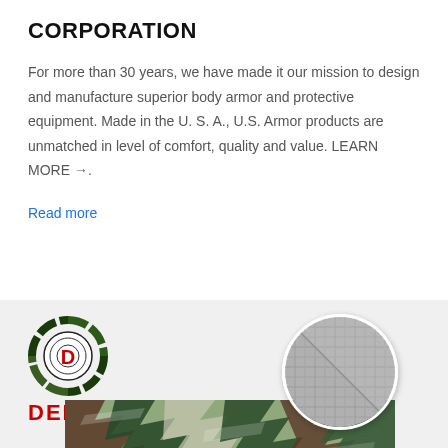CORPORATION
For more than 30 years, we have made it our mission to design and manufacture superior body armor and protective equipment. Made in the U. S. A., U.S. Armor products are unmatched in level of comfort, quality and value. LEARN MORE →.
Read more
[Figure (logo): Deekon logo: circular camouflage-ringed target icon with red D letter in center, with DEEKON text in red below]
[Figure (photo): Camouflage fabric material in tiger stripe pattern colors of green, brown, and white, with a circular close-up inset showing grey textured fabric material]